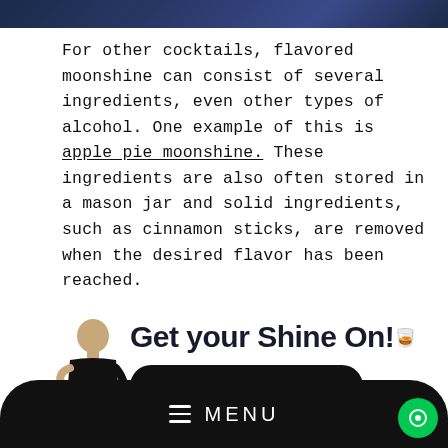[Figure (photo): Dark blue banner/header image at the top of the page]
For other cocktails, flavored moonshine can consist of several ingredients, even other types of alcohol. One example of this is apple pie moonshine. These ingredients are also often stored in a mason jar and solid ingredients, such as cinnamon sticks, are removed when the desired flavor has been reached.
[Figure (infographic): Advertisement banner: man figure on left, bold text 'Get your Shine On!' with a bottle icon, and a black rounded 'GET YOUR NEW STILL' button]
≡  MENU